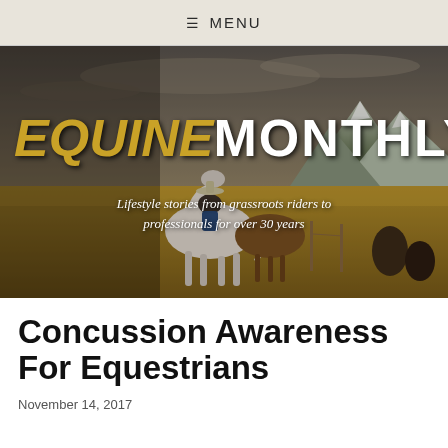≡ MENU
[Figure (photo): Hero image of a cowboy/rider on a white horse in a golden grassland field with mountains and overcast sky in the background, overlaid with the Equine Monthly magazine logo and tagline]
Concussion Awareness For Equestrians
November 14, 2017